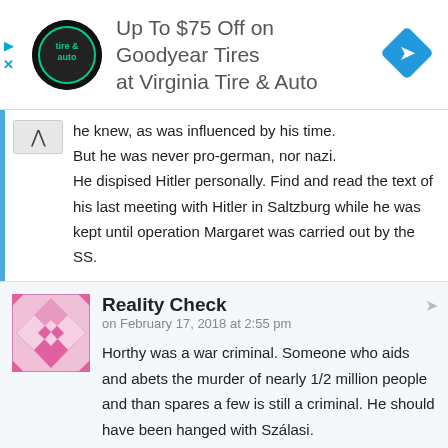[Figure (other): Advertisement banner: Up To $75 Off on Goodyear Tires at Virginia Tire & Auto, with logo and blue diamond navigation icon]
he knew, as was influenced by his time.
But he was never pro-german, nor nazi.
He dispised Hitler personally. Find and read the text of his last meeting with Hitler in Saltzburg while he was kept until operation Margaret was carried out by the SS.
Reality Check
on February 17, 2018 at 2:55 pm
Horthy was a war criminal. Someone who aids and abets the murder of nearly 1/2 million people and than spares a few is still a criminal. He should have been hanged with Szálasi.
Those who wear the Vitézi Rend signal their